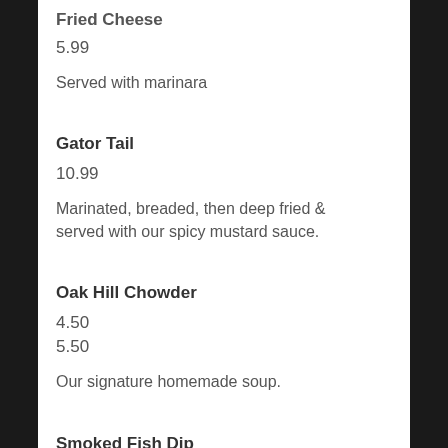5.99
Served with marinara
Gator Tail
10.99
Marinated, breaded, then deep fried & served with our spicy mustard sauce.
Oak Hill Chowder
4.50
5.50
Our signature homemade soup.
Smoked Fish Dip